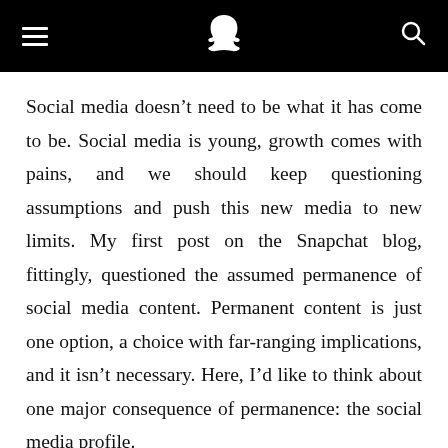[Snapchat navigation bar with hamburger menu, Snapchat ghost logo, and search icon]
Social media doesn't need to be what it has come to be. Social media is young, growth comes with pains, and we should keep questioning assumptions and push this new media to new limits. My first post on the Snapchat blog, fittingly, questioned the assumed permanence of social media content. Permanent content is just one option, a choice with far-ranging implications, and it isn't necessary. Here, I'd like to think about one major consequence of permanence: the social media profile.